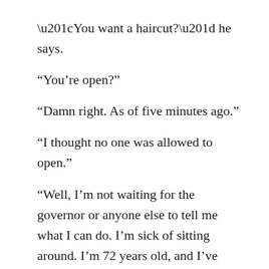“You want a haircut?” he says.
“You’re open?”
“Damn right. As of five minutes ago.”
“I thought no one was allowed to open.”
“Well, I’m not waiting for the governor or anyone else to tell me what I can do. I’m sick of sitting around. I’m 72 years old, and I’ve been making my own way since I came to this country when I was your age. I got customers who need haircuts. I got bills to pay. I’m opening. The hell with their policies. If I wait for them to say it’s OK, I’ll be out of business.”